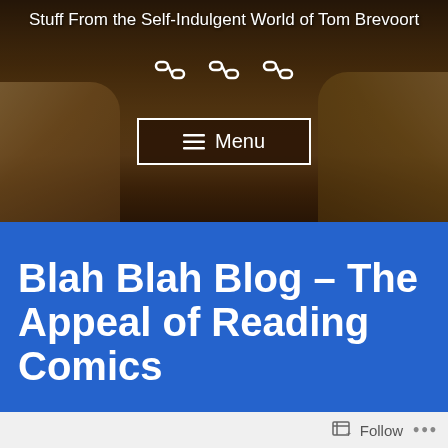[Figure (photo): Header photo showing hands holding comic books on a wooden surface, with navigation menu overlay and site title text]
Stuff From the Self-Indulgent World of Tom Brevoort
Blah Blah Blog – The Appeal of Reading Comics
Follow ...